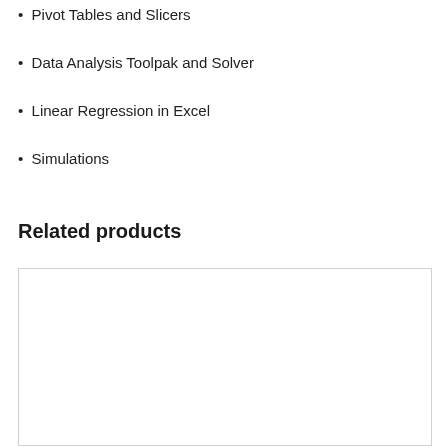Pivot Tables and Slicers
Data Analysis Toolpak and Solver
Linear Regression in Excel
Simulations
Related products
[Figure (other): Empty product card box with border]